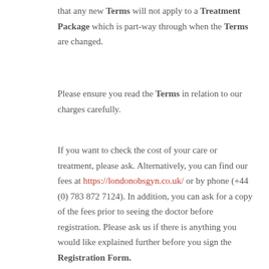that any new Terms will not apply to a Treatment Package which is part-way through when the Terms are changed.
Please ensure you read the Terms in relation to our charges carefully.
If you want to check the cost of your care or treatment, please ask. Alternatively, you can find our fees at https://londonobsgyn.co.uk/ or by phone (+44 (0) 783 872 7124). In addition, you can ask for a copy of the fees prior to seeing the doctor before registration. Please ask us if there is anything you would like explained further before you sign the Registration Form.